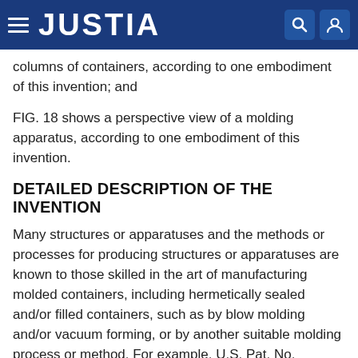JUSTIA
columns of containers, according to one embodiment of this invention; and
FIG. 18 shows a perspective view of a molding apparatus, according to one embodiment of this invention.
DETAILED DESCRIPTION OF THE INVENTION
Many structures or apparatuses and the methods or processes for producing structures or apparatuses are known to those skilled in the art of manufacturing molded containers, including hermetically sealed and/or filled containers, such as by blow molding and/or vacuum forming, or by another suitable molding process or method. For example, U.S. Pat. No. 6,381,926, U.S. Pat. No. 4,967,539, U.S. Pat. No. 7,396,225, U.S. Pat. No. 5,503,885 and U.S. Pat. No. 4,699,748 each teaches